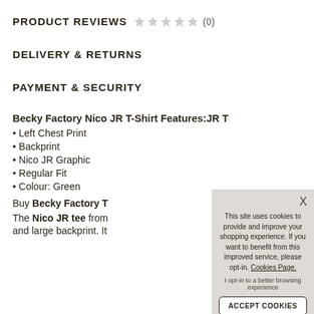PRODUCT REVIEWS ☆☆☆☆☆ (0)
DELIVERY & RETURNS
PAYMENT & SECURITY
Becky Factory Nico JR T-Shirt Features:
• Left Chest Print
• Backprint
• Nico JR Graphic
• Regular Fit
• Colour: Green
Buy Becky Factory T
The Nico JR tee from and large backprint. It
[Figure (screenshot): Cookie consent modal overlay with text: 'This site uses cookies to provide and improve your shopping experience. If you want to benefit from this improved service, please opt-in. Cookies Page.' with 'I opt-in to a better browsing experience' link and 'ACCEPT COOKIES' button, and X close button.]